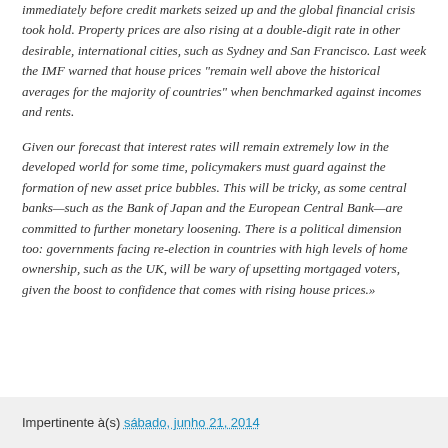immediately before credit markets seized up and the global financial crisis took hold. Property prices are also rising at a double-digit rate in other desirable, international cities, such as Sydney and San Francisco. Last week the IMF warned that house prices "remain well above the historical averages for the majority of countries" when benchmarked against incomes and rents.
Given our forecast that interest rates will remain extremely low in the developed world for some time, policymakers must guard against the formation of new asset price bubbles. This will be tricky, as some central banks—such as the Bank of Japan and the European Central Bank—are committed to further monetary loosening. There is a political dimension too: governments facing re-election in countries with high levels of home ownership, such as the UK, will be wary of upsetting mortgaged voters, given the boost to confidence that comes with rising house prices.»
Impertinente à(s) sábado, junho 21, 2014